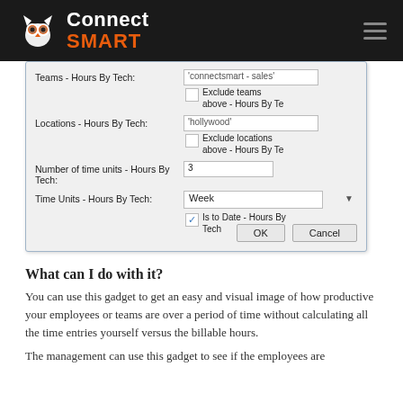Connect SMART
[Figure (screenshot): A dialog/form window showing configuration fields: Teams - Hours By Tech with value 'connectsmart - sales', Exclude teams above - Hours By Te checkbox, Locations - Hours By Tech with value 'hollywood', Exclude locations above - Hours By Te checkbox, Number of time units - Hours By Tech with value 3, Time Units - Hours By Tech dropdown set to Week, Is to Date - Hours By Tech checkbox (checked). OK and Cancel buttons at the bottom.]
What can I do with it?
You can use this gadget to get an easy and visual image of how productive your employees or teams are over a period of time without calculating all the time entries yourself versus the billable hours.
The management can use this gadget to see if the employees are